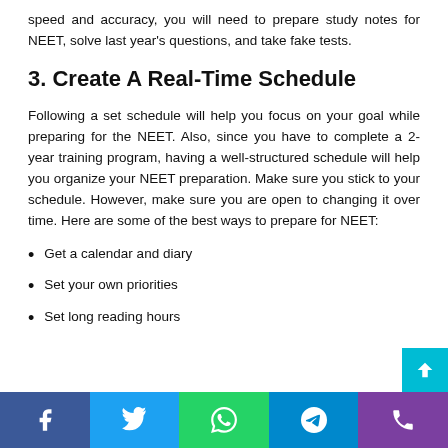speed and accuracy, you will need to prepare study notes for NEET, solve last year's questions, and take fake tests.
3. Create A Real-Time Schedule
Following a set schedule will help you focus on your goal while preparing for the NEET. Also, since you have to complete a 2-year training program, having a well-structured schedule will help you organize your NEET preparation. Make sure you stick to your schedule. However, make sure you are open to changing it over time. Here are some of the best ways to prepare for NEET:
Get a calendar and diary
Set your own priorities
Set long reading hours